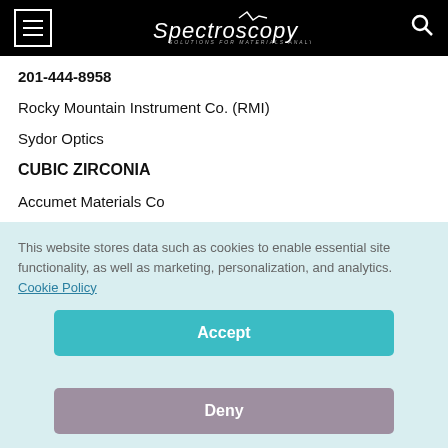Spectroscopy — Solutions for Materials Analysis
201-444-8958
Rocky Mountain Instrument Co. (RMI)
Sydor Optics
CUBIC ZIRCONIA
Accumet Materials Co
This website stores data such as cookies to enable essential site functionality, as well as marketing, personalization, and analytics. Cookie Policy
Accept
Deny